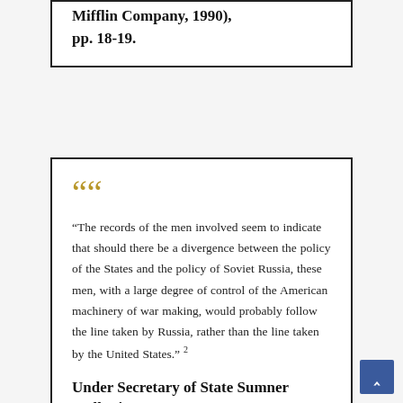Mifflin Company, 1990), pp. 18-19.
“The records of the men involved seem to indicate that should there be a divergence between the policy of the States and the policy of Soviet Russia, these men, with a large degree of control of the American machinery of war making, would probably follow the line taken by Russia, rather than the line taken by the United States.” 2
Under Secretary of State Sumner Welles in